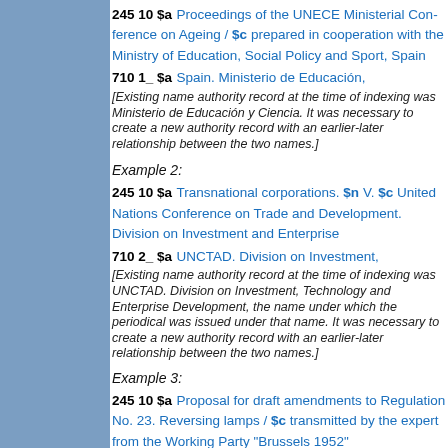245 10 $a Proceedings of the UNECE Ministerial Conference on Ageing / $c prepared in cooperation with the Ministry of Education, Social Policy and Sport, Spain
710 1_ $a Spain. Ministerio de Educación,
[Existing name authority record at the time of indexing was Ministerio de Educación y Ciencia. It was necessary to create a new authority record with an earlier-later relationship between the two names.]
Example 2:
245 10 $a Transnational corporations. $n V. $c United Nations Conference on Trade and Development. Division on Investment and Enterprise
710 2_ $a UNCTAD. Division on Investment,
[Existing name authority record at the time of indexing was UNCTAD. Division on Investment, Technology and Enterprise Development, the name under which the periodical was issued under that name. It was necessary to create a new authority record with an earlier-later relationship between the two names.]
Example 3:
245 10 $a Proposal for draft amendments to Regulation No. 23. Reversing lamps / $c transmitted by the expert from the Working Party "Brussels 1952"
710 2_ $a Working Party "Brussels 1952"
[Existing name authority record at the time of indexing